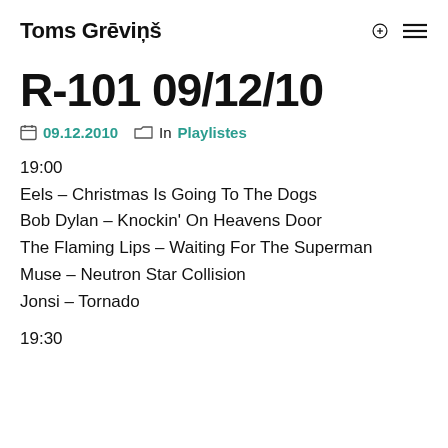Toms Grēviņš
R-101 09/12/10
09.12.2010  In Playlistes
19:00
Eels – Christmas Is Going To The Dogs
Bob Dylan – Knockin' On Heavens Door
The Flaming Lips – Waiting For The Superman
Muse – Neutron Star Collision
Jonsi – Tornado
19:30